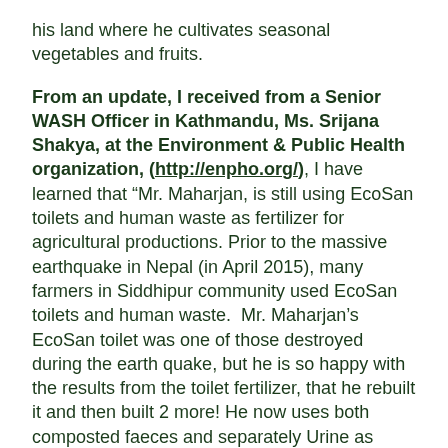his land where he cultivates seasonal vegetables and fruits.
From an update, I received from a Senior WASH Officer in Kathmandu, Ms. Srijana Shakya, at the Environment & Public Health organization, (http://enpho.org/), I have learned that "Mr. Maharjan, is still using EcoSan toilets and human waste as fertilizer for agricultural productions. Prior to the massive earthquake in Nepal (in April 2015), many farmers in Siddhipur community used EcoSan toilets and human waste. Mr. Maharjan's EcoSan toilet was one of those destroyed during the earth quake, but he is so happy with the results from the toilet fertilizer, that he rebuilt it and then built 2 more! He now uses both composted faeces and separately Urine as fertilizer. The monitoring visit conducted a year ago has shown that the earthquake destroyed many